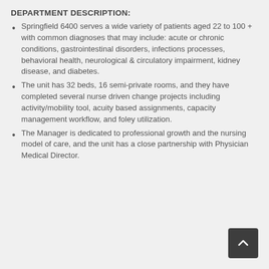DEPARTMENT DESCRIPTION:
Springfield 6400 serves a wide variety of patients aged 22 to 100 + with common diagnoses that may include: acute or chronic conditions, gastrointestinal disorders, infections processes, behavioral health, neurological & circulatory impairment, kidney disease, and diabetes.
The unit has 32 beds, 16 semi-private rooms, and they have completed several nurse driven change projects including activity/mobility tool, acuity based assignments, capacity management workflow, and foley utilization.
The Manager is dedicated to professional growth and the nursing model of care, and the unit has a close partnership with Physician Medical Director.